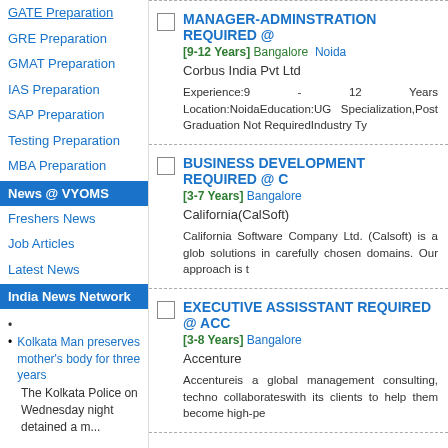GATE Preparation
GRE Preparation
GMAT Preparation
IAS Preparation
SAP Preparation
Testing Preparation
MBA Preparation
News @ VYOMS
Freshers News
Job Articles
Latest News
India News Network
Kolkata Man preserves mother's body for three years
The Kolkata Police on Wednesday night detained a m...
Finally after 20 years Salman Khan found guilty in Blackbuck case
A full 20 years
MANAGER-ADMINSTRATION REQUIRED @ [9-12 Years] Noida
Corbus India Pvt Ltd
Experience:9 - 12 Years Location:NoidaEducation:UG Specialization,Post Graduation Not RequiredIndustry Ty
BUSINESS DEVELOPMENT REQUIRED @ C [3-7 Years] Bangalore
California(CalSoft)
California Software Company Ltd. (Calsoft) is a glob solutions in carefully chosen domains. Our approach is t
EXECUTIVE ASSISSTANT REQUIRED @ ACC [3-8 Years] Bangalore
Accenture
Accentureis a global management consulting, techno collaborateswith its clients to help them become high-pe